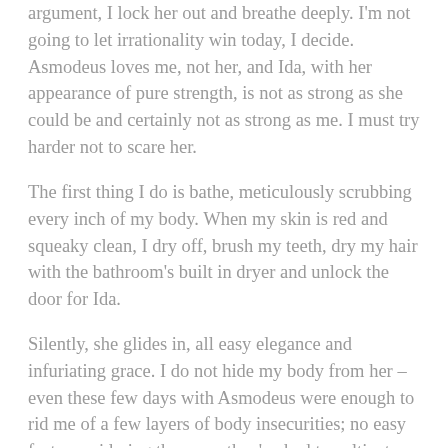argument, I lock her out and breathe deeply. I'm not going to let irrationality win today, I decide. Asmodeus loves me, not her, and Ida, with her appearance of pure strength, is not as strong as she could be and certainly not as strong as me. I must try harder not to scare her.
The first thing I do is bathe, meticulously scrubbing every inch of my body. When my skin is red and squeaky clean, I dry off, brush my teeth, dry my hair with the bathroom's built in dryer and unlock the door for Ida.
Silently, she glides in, all easy elegance and infuriating grace. I do not hide my body from her – even these few days with Asmodeus were enough to rid me of a few layers of body insecurities; no easy feat, considering the years they've had to cultivate. Of course, they aren't completely gone, or else Ida's mere presence would not irk me so.
Without a word, she turns her attention to the clay in the sink, dipping her hands in and bringing out with them a thick layer